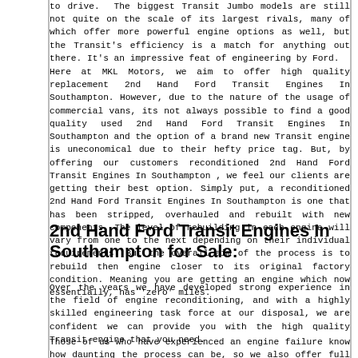to drive.  The biggest Transit Jumbo models are still not quite on the scale of its largest rivals, many of which offer more powerful engine options as well, but the Transit's efficiency is a match for anything out there. It's an impressive feat of engineering by Ford.
Here at MKL Motors, we aim to offer high quality replacement 2nd Hand Ford Transit Engines In Southampton. However, due to the nature of the usage of commercial vans, its not always possible to find a good quality used 2nd Hand Ford Transit Engines In Southampton and the option of a brand new Transit engine is uneconomical due to their hefty price tag. But, by offering our customers reconditioned 2nd Hand Ford Transit Engines In Southampton , we feel our clients are getting their best option. Simply put, a reconditioned 2nd Hand Ford Transit Engines In Southampton is one that has been stripped, overhauled and rebuilt with new components. The level of rebuilding in each engine will vary from one to the next depending on their individual requirements. But the overall aim of the process is to rebuild then engine closer to its original factory condition. Meaning you are getting an engine which now essentially, has 'zero' miles.
2nd Hand Ford Transit Engines In Southampton for Sale:
Over the years we have developed strong experience in the field of engine reconditioning, and with a highly skilled engineering task force at our disposal, we are confident we can provide you with the high quality Transit engine that you need.
Those of us who have experienced an engine failure know how daunting the process can be, so we also offer full fitting and vehicle recovery